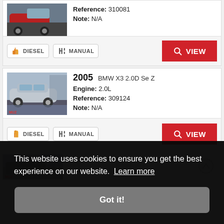[Figure (photo): Partial top car listing card showing a red car image, Reference: 310081, Note: N/A, with DIESEL and MANUAL badges and VIEW button]
[Figure (photo): 2005 BMW X3 2.0D Se Z listing card with silver BMW X3 car photo, Engine: 2.0L, Reference: 309124, Note: N/A, DIESEL and MANUAL badges, red VIEW button]
[Figure (screenshot): Partial third car listing card partially visible, overlaid by cookie consent banner]
This website uses cookies to ensure you get the best experience on our website. Learn more
Got it!